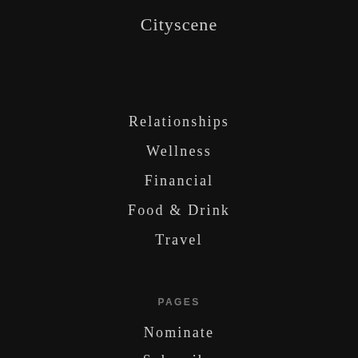Cityscene
Relationships
Wellness
Financial
Food & Drink
Travel
PAGES
Nominate
Subscribe
Magazine
Contributors